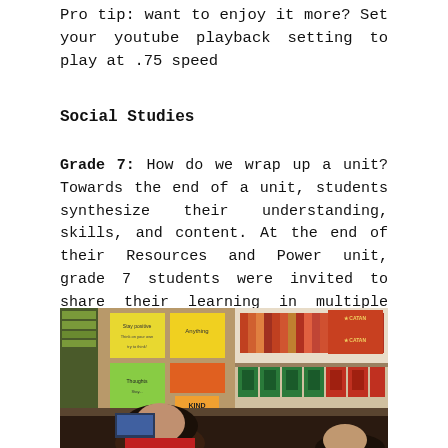Pro tip: want to enjoy it more? Set your youtube playback setting to play at .75 speed
Social Studies
Grade 7: How do we wrap up a unit? Towards the end of a unit, students synthesize their understanding, skills, and content. At the end of their Resources and Power unit, grade 7 students were invited to share their learning in multiple ways.
[Figure (photo): Classroom photo showing students working at desks with colorful posters and signs on the walls and a bookshelf in the background. One student in a red shirt is visible in the foreground.]